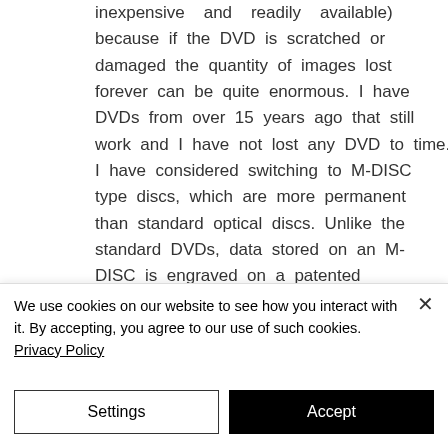inexpensive and readily available) because if the DVD is scratched or damaged the quantity of images lost forever can be quite enormous. I have DVDs from over 15 years ago that still work and I have not lost any DVD to time. I have considered switching to M-DISC type discs, which are more permanent than standard optical discs. Unlike the standard DVDs, data stored on an M-DISC is engraved on a patented inorganic write layer that will not fade or deteriorate; this renders these archival grade discs, which are practically
We use cookies on our website to see how you interact with it. By accepting, you agree to our use of such cookies. Privacy Policy
Settings
Accept